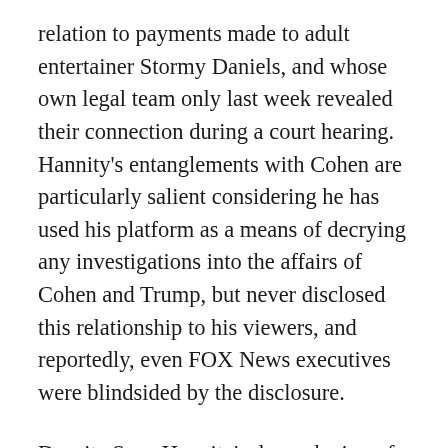relation to payments made to adult entertainer Stormy Daniels, and whose own legal team only last week revealed their connection during a court hearing. Hannity's entanglements with Cohen are particularly salient considering he has used his platform as a means of decrying any investigations into the affairs of Cohen and Trump, but never disclosed this relationship to his viewers, and reportedly, even FOX News executives were blindsided by the disclosure.
Despite Sean Hannity's downplaying of the situation, it's not as if the reason for soliciting Cohen's legal counsel is particularly difficult...